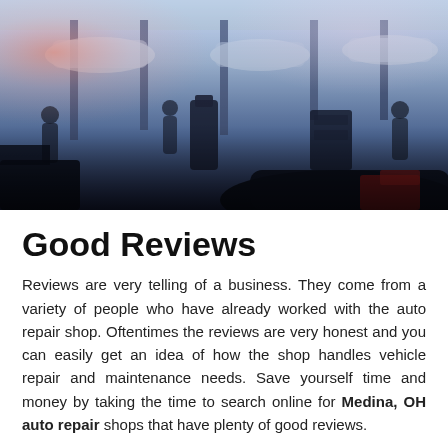[Figure (photo): An auto repair shop interior with cars on lifts and workers/silhouettes visible. The image has a blue-tinted tone with a warm reddish flare in the upper-left. Cars are partially visible in the background and foreground.]
Good Reviews
Reviews are very telling of a business. They come from a variety of people who have already worked with the auto repair shop. Oftentimes the reviews are very honest and you can easily get an idea of how the shop handles vehicle repair and maintenance needs. Save yourself time and money by taking the time to search online for Medina, OH auto repair shops that have plenty of good reviews.